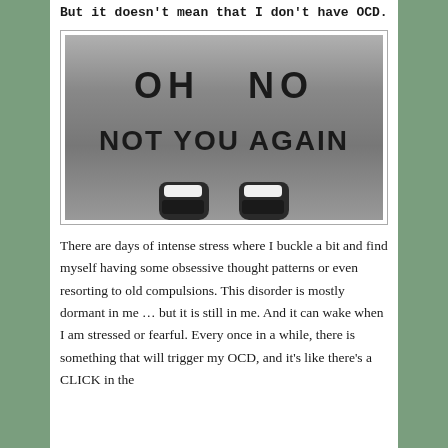But it doesn't mean that I don't have OCD.
[Figure (photo): Black and white photo of a doormat that reads 'OH NO NOT YOU AGAIN' with a person's sneakers visible at the bottom of the frame.]
There are days of intense stress where I buckle a bit and find myself having some obsessive thought patterns or even resorting to old compulsions. This disorder is mostly dormant in me ... but it is still in me. And it can wake when I am stressed or fearful. Every once in a while, there is something that will trigger my OCD, and it's like there's a CLICK in the